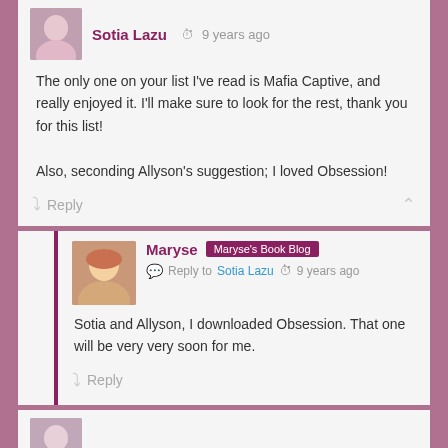Sotia Lazu  9 years ago
The only one on your list I've read is Mafia Captive, and really enjoyed it. I'll make sure to look for the rest, thank you for this list!

Also, seconding Allyson's suggestion; I loved Obsession!
Reply
Maryse  Maryse's Book Blog  Reply to Sotia Lazu  9 years ago
Sotia and Allyson, I downloaded Obsession. That one will be very very soon for me.
Reply